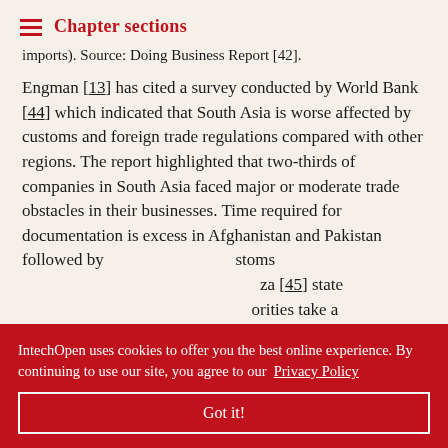Chapter sections
imports). Source: Doing Business Report [42].
Engman [13] has cited a survey conducted by World Bank [44] which indicated that South Asia is worse affected by customs and foreign trade regulations compared with other regions. The report highlighted that two-thirds of companies in South Asia faced major or moderate trade obstacles in their businesses. Time required for documentation is excess in Afghanistan and Pakistan followed by …stoms …za [45] state …orities take a …k in …man [13] …t Bank (ADB)
IntechOpen uses cookies to offer you the best online experience. By continuing to use our site, you agree to our Privacy Policy
Got it!